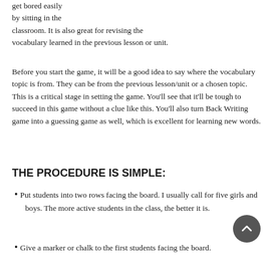get bored easily by sitting in the classroom. It is also great for revising the vocabulary learned in the previous lesson or unit.
Before you start the game, it will be a good idea to say where the vocabulary topic is from. They can be from the previous lesson/unit or a chosen topic. This is a critical stage in setting the game. You'll see that it'll be tough to succeed in this game without a clue like this. You'll also turn Back Writing game into a guessing game as well, which is excellent for learning new words.
THE PROCEDURE IS SIMPLE:
Put students into two rows facing the board. I usually call for five girls and boys. The more active students in the class, the better it is.
Give a marker or chalk to the first students facing the board.